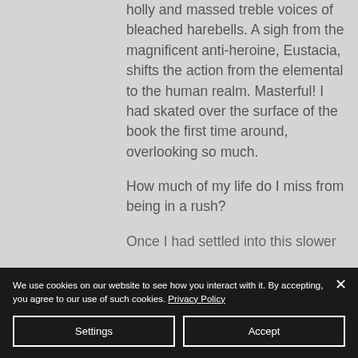holly and massed treble voices of bleached harebells. A sigh from the magnificent anti-heroine, Eustacia, shifts the action from the elemental to the human realm. Masterful! I had skated over the surface of the book the first time around, overlooking so much.
How much of my life do I miss from being in a rush?
Once I had settled into this slower
We use cookies on our website to see how you interact with it. By accepting, you agree to our use of such cookies. Privacy Policy